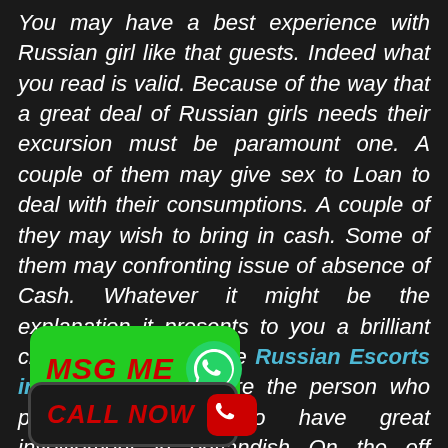You may have a best experience with Russian girl like that guests. Indeed what you read is valid. Because of the way that a great deal of Russian girls needs their excursion must be paramount one. A couple of them may give sex to Loan to deal with their consumptions. A couple of they may wish to bring in cash. Some of them may confronting issue of absence of Cash. Whatever it might be the explanation it presents to you a brilliant chance to get Genuine Russian Escorts in Pushkar If you are the person who profoundly needs to have great involvement in outlandish On the off chance that you really who wishes to taste product like Russian Girls in only your objective. It is incredibly simple to get a Russian Escort in
[Figure (other): Green MSG ME button with WhatsApp phone icon]
[Figure (other): Black CALL NOW button with red phone icon]